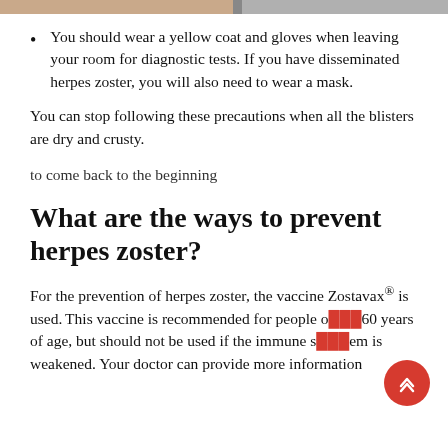[Figure (photo): Top strip showing partial image — appears to be a medical/skin-related photo cropped at the top of the page]
You should wear a yellow coat and gloves when leaving your room for diagnostic tests. If you have disseminated herpes zoster, you will also need to wear a mask.
You can stop following these precautions when all the blisters are dry and crusty.
to come back to the beginning
What are the ways to prevent herpes zoster?
For the prevention of herpes zoster, the vaccine Zostavax® is used. This vaccine is recommended for people over 60 years of age, but should not be used if the immune system is weakened. Your doctor can provide more information